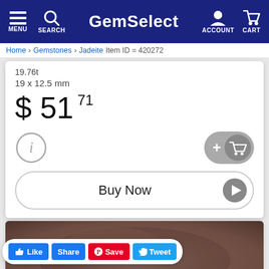MENU  SEARCH  GemSelect  ACCOUNT  CART
Home  Gemstones  Jadeite  Item ID = 420272
19.76t
19 x 12.5 mm
$ 51 71
[Figure (screenshot): Info circle icon (i) button and Add to cart pill button with plus and cart icon]
[Figure (screenshot): Buy Now button with play arrow icon]
[Figure (photo): Close-up photo of a rough brownish-grey stone/jadeite gemstone]
Like  Share  Save  Tweet